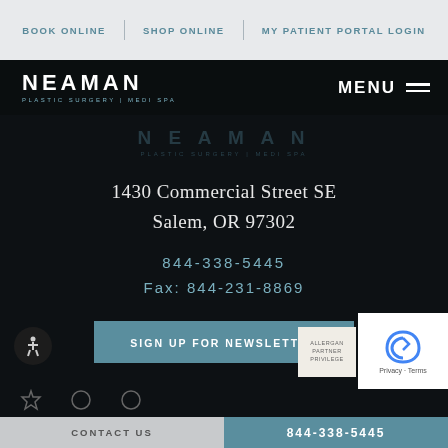BOOK ONLINE | SHOP ONLINE | MY PATIENT PORTAL LOGIN
[Figure (logo): Neaman Plastic Surgery | Medi Spa logo in white on black header bar with MENU hamburger icon]
[Figure (logo): Neaman Plastic Surgery | Medi Spa watermark logo faded in dark background]
1430 Commercial Street SE
Salem, OR 97302
844-338-5445
Fax: 844-231-8869
SIGN UP FOR NEWSLETTER
CONTACT US | 844-338-5445